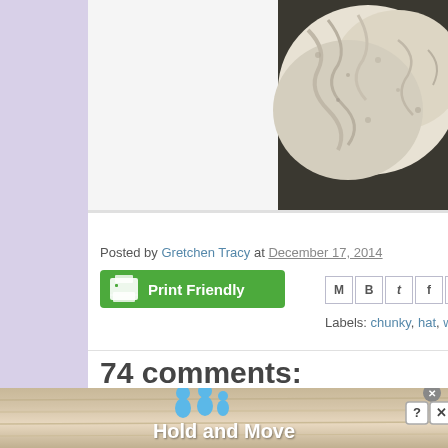[Figure (photo): Close-up photo of cream/grey chunky knitted fabric, showing cable knit texture against dark background]
Posted by Gretchen Tracy at December 17, 2014
[Figure (screenshot): Print Friendly button (green) with printer icon]
[Figure (infographic): Social share icons: Email (M), Blogger (B), Twitter (t), Facebook (f), Pinterest]
Labels: chunky, hat, worsted
74 comments:
[Figure (infographic): Advertisement banner with wood texture background showing two blue figure icons and text 'Hold and Move' with close/help/X buttons]